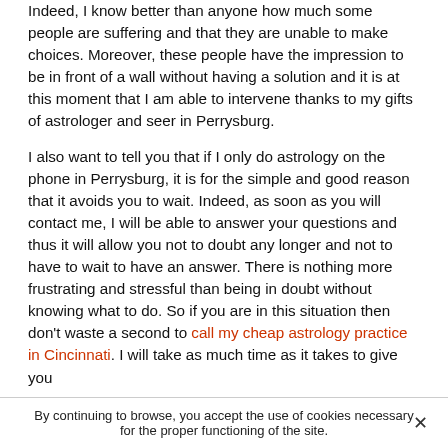Indeed, I know better than anyone how much some people are suffering and that they are unable to make choices. Moreover, these people have the impression to be in front of a wall without having a solution and it is at this moment that I am able to intervene thanks to my gifts of astrologer and seer in Perrysburg.

I also want to tell you that if I only do astrology on the phone in Perrysburg, it is for the simple and good reason that it avoids you to wait. Indeed, as soon as you will contact me, I will be able to answer your questions and thus it will allow you not to doubt any longer and not to have to wait to have an answer. There is nothing more frustrating and stressful than being in doubt without knowing what to do. So if you are in this situation then don't waste a second to call my cheap astrology practice in Cincinnati. I will take as much time as it takes to give you
By continuing to browse, you accept the use of cookies necessary for the proper functioning of the site.